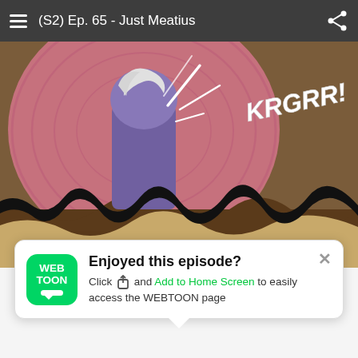(S2) Ep. 65 - Just Meatius
[Figure (illustration): Manga/webtoon comic panel showing a character with white hair in purple clothing being struck or impacted, with a sound effect 'KRGRR!' in white text. The scene has pink circular impact lines and a brown earthy ground below.]
[Figure (infographic): WiFi signal icon with an orange exclamation mark notification badge, indicating a connectivity warning.]
Enjoyed this episode?
Click [share icon] and Add to Home Screen to easily access the WEBTOON page